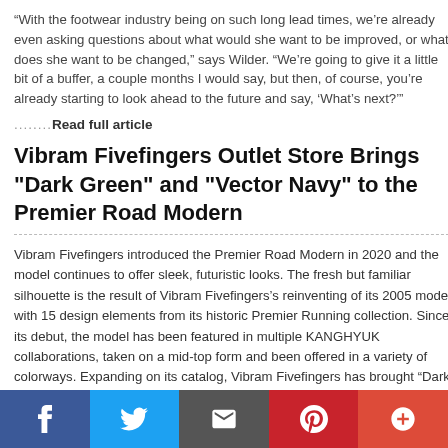“With the footwear industry being on such long lead times, we’re already even asking questions about what would she want to be improved, or what does she want to be changed,” says Wilder. “We’re going to give it a little bit of a buffer, a couple months I would say, but then, of course, you’re already starting to look ahead to the future and say, ‘What’s next?’”
.........Read full article
Vibram Fivefingers Outlet Store Brings "Dark Green" and "Vector Navy" to the Premier Road Modern
Vibram Fivefingers introduced the Premier Road Modern in 2020 and the model continues to offer sleek, futuristic looks. The fresh but familiar silhouette is the result of Vibram Fivefingers’s reinventing of its 2005 model with 15 design elements from its historic Premier Running collection. Since its debut, the model has been featured in multiple KANGHYUK collaborations, taken on a mid-top form and been offered in a variety of colorways. Expanding on its catalog, Vibram Fivefingers has brought “Dark Green” and “Vector Navy” to the new school runner
Both colorways feature standard Premier Road Modern construction, including a textile upper, mesh underlays and supportive foam at the tongue, toe and heel. In “Dark Green,” the base of the upper holds shades of green while a “Pure Grey” outfits the overlays. “Cloud White” covers most of the DMX technology-infused midsole and rubber outsole as green hits the heel portion. “Vector Navy” operates similarly as black overlays rest atop its navy base layer which reaches to the heel